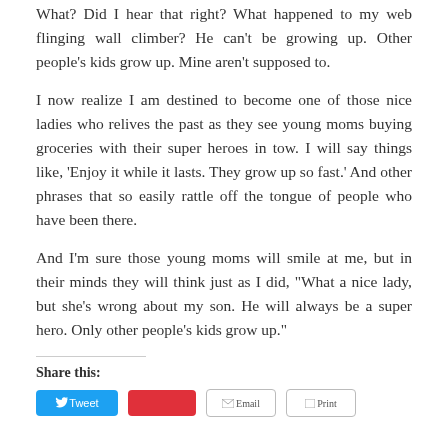What? Did I hear that right? What happened to my web flinging wall climber? He can't be growing up. Other people's kids grow up. Mine aren't supposed to.
I now realize I am destined to become one of those nice ladies who relives the past as they see young moms buying groceries with their super heroes in tow. I will say things like, 'Enjoy it while it lasts. They grow up so fast.' And other phrases that so easily rattle off the tongue of people who have been there.
And I'm sure those young moms will smile at me, but in their minds they will think just as I did, "What a nice lady, but she's wrong about my son. He will always be a super hero. Only other people's kids grow up."
Share this: